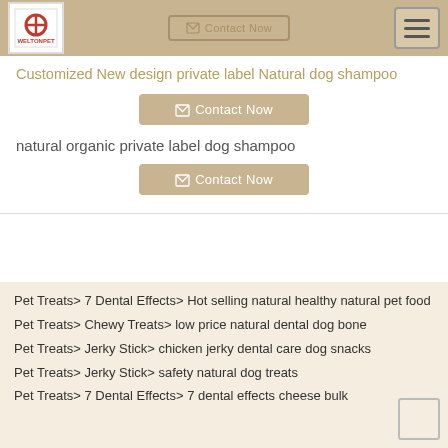WELTONPET - Contact Now
Customized New design private label Natural dog shampoo
Contact Now
natural organic private label dog shampoo
Contact Now
Pet Treats> 7 Dental Effects> Hot selling natural healthy natural pet food
Pet Treats> Chewy Treats> low price natural dental dog bone
Pet Treats> Jerky Stick> chicken jerky dental care dog snacks
Pet Treats> Jerky Stick> safety natural dog treats
Pet Treats> 7 Dental Effects> 7 dental effects cheese bulk